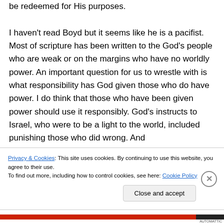be redeemed for His purposes.

I haven't read Boyd but it seems like he is a pacifist. Most of scripture has been written to the God's people who are weak or on the margins who have no worldly power. An important question for us to wrestle with is what responsibility has God given those who do have power. I do think that those who have been given power should use it responsibly. God's instructs to Israel, who were to be a light to the world, included punishing those who did wrong. And
Privacy & Cookies: This site uses cookies. By continuing to use this website, you agree to their use.
To find out more, including how to control cookies, see here: Cookie Policy